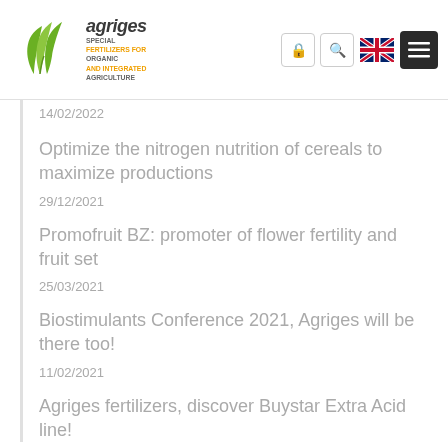agriges — SPECIAL FERTILIZERS FOR ORGANIC AND INTEGRATED AGRICULTURE
14/02/2022
Optimize the nitrogen nutrition of cereals to maximize productions
29/12/2021
Promofruit BZ: promoter of flower fertility and fruit set
25/03/2021
Biostimulants Conference 2021, Agriges will be there too!
11/02/2021
Agriges fertilizers, discover Buystar Extra Acid line!